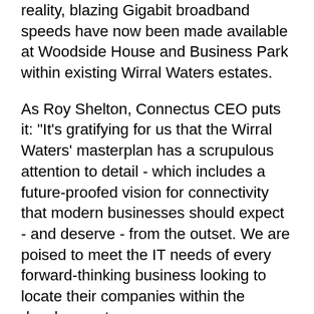reality, blazing Gigabit broadband speeds have now been made available at Woodside House and Business Park within existing Wirral Waters estates.
As Roy Shelton, Connectus CEO puts it: "It's gratifying for us that the Wirral Waters' masterplan has a scrupulous attention to detail - which includes a future-proofed vision for connectivity that modern businesses should expect - and deserve - from the outset. We are poised to meet the IT needs of every forward-thinking business looking to locate their companies within the development.
"Woodside Business Park tenants have suffered with woefully inadequate connectivity for far too long - and we are here to resolve that," he continues,